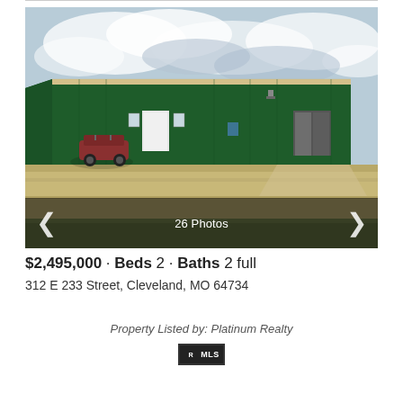[Figure (photo): Exterior photo of a large green metal building/warehouse with a gravel parking area, white doors, a UTV parked on the left, cloudy sky background. Navigation arrows and '26 Photos' overlay at bottom.]
$2,495,000 · Beds 2 · Baths 2 full
312 E 233 Street, Cleveland, MO 64734
Property Listed by: Platinum Realty